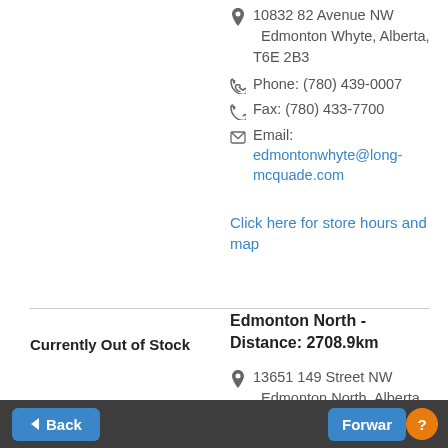10832 82 Avenue NW Edmonton Whyte, Alberta, T6E 2B3
Phone: (780) 439-0007
Fax: (780) 433-7700
Email: edmontonwhyte@long-mcquade.com
Click here for store hours and map
Currently Out of Stock
Edmonton North - Distance: 2708.9km
13651 149 Street NW Edmonton North, Alberta, T5L 2T3
Phone: 780-425-1400
Fax: 780-425-1414
Email:
Back | Forward